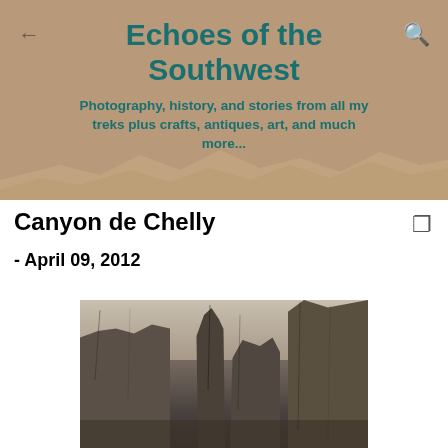Echoes of the Southwest
Photography, history, and stories from all my treks plus crafts, antiques, art, and much more...
Canyon de Chelly
- April 09, 2012
[Figure (photo): Black and white historical photograph of Canyon de Chelly showing tall sandstone rock formations and canyon walls]